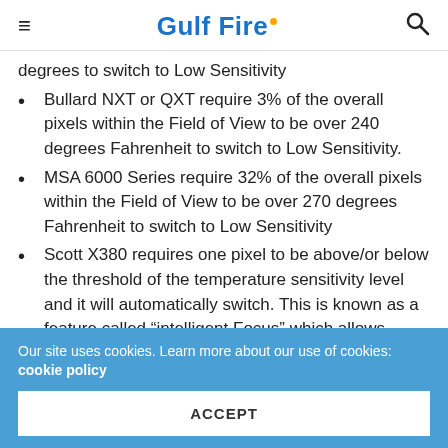Gulf Fire
degrees to switch to Low Sensitivity
Bullard NXT or QXT require 3% of the overall pixels within the Field of View to be over 240 degrees Fahrenheit to switch to Low Sensitivity.
MSA 6000 Series require 32% of the overall pixels within the Field of View to be over 270 degrees Fahrenheit to switch to Low Sensitivity
Scott X380 requires one pixel to be above/or below the threshold of the temperature sensitivity level and it will automatically switch. This is known as a feature called “intelligent Focus” which allows
Our site uses cookies. Learn more about our use of cookies: cookie policy
ACCEPT